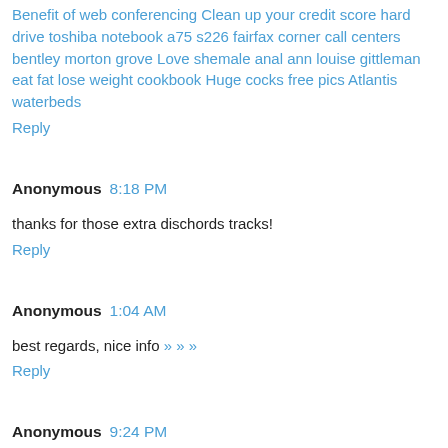Benefit of web conferencing Clean up your credit score hard drive toshiba notebook a75 s226 fairfax corner call centers bentley morton grove Love shemale anal ann louise gittleman eat fat lose weight cookbook Huge cocks free pics Atlantis waterbeds
Reply
Anonymous 8:18 PM
thanks for those extra dischords tracks!
Reply
Anonymous 1:04 AM
best regards, nice info » » »
Reply
Anonymous 9:24 PM
Looking for information and found it at this great site... »